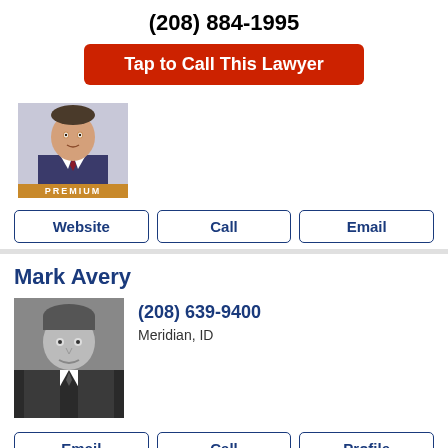(208) 884-1995
Tap to Call This Lawyer
[Figure (photo): Lawyer photo with PREMIUM badge]
Website | Call | Email
Mark Avery
[Figure (photo): Black and white headshot of Mark Avery]
(208) 639-9400
Meridian, ID
Email | Call | Profile
Jeffrey Lee Cotton
[Figure (photo): Photo of Jeffrey Lee Cotton outdoors]
(208) 322-9672